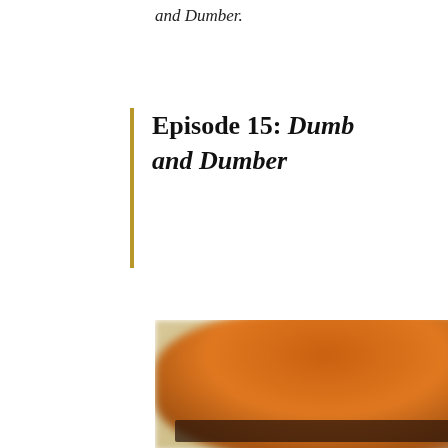and Dumber.
Episode 15: Dumb and Dumber
[Figure (photo): A blurred photograph of two people, one wearing an orange shirt on the left and one in a lighter colored shirt on the right, with a dark caption bar at the bottom of the image.]